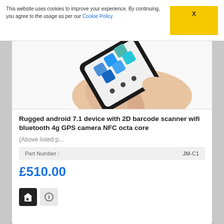This website uses cookies to improve your experience. By continuing, you agree to the usage as per our Cookie Policy   X
[Figure (photo): Hand holding a black Android smartphone with colorful app icons on the screen, tilted diagonally]
Rugged android 7.1 device with 2D barcode scanner wifi bluetooth 4g GPS camera NFC octa core
(Above listed p...
| Part Number : | JM-C1 |
| --- | --- |
£510.00
[Figure (other): Two small icon boxes at the bottom of the product listing]